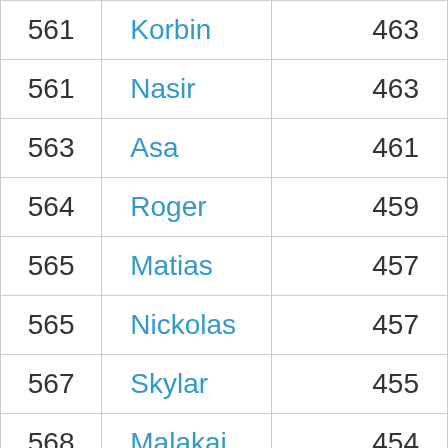| 561 | Korbin | 463 |
| 561 | Nasir | 463 |
| 563 | Asa | 461 |
| 564 | Roger | 459 |
| 565 | Matias | 457 |
| 565 | Nickolas | 457 |
| 567 | Skylar | 455 |
| 568 | Malakai | 454 |
| 569 | Alonzo | 453 |
| 570 | Douglas | 452 |
| 570 | Jaxen | 452 |